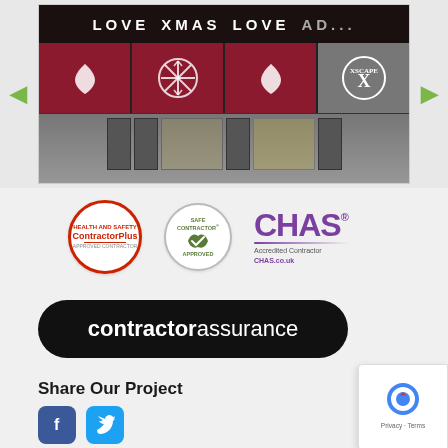[Figure (photo): Slideshow image of Xscape shopping centre exterior with 'LOVE XMAS LOVE' banner and XSCAPE logo, showing entrance doors. Left and right navigation arrows visible.]
[Figure (logo): ContractorPlus health and safety approved contractor circular logo with red border]
[Figure (logo): Safecontractor Approved circular stamp logo]
[Figure (logo): CHAS Accredited Contractor logo in purple with CHAS.co.uk text]
[Figure (logo): contractorassurance black rounded rectangle logo with bold/light combined text]
Share Our Project
[Figure (other): Facebook and Twitter share icon buttons]
[Figure (other): reCAPTCHA badge with Privacy and Terms text]